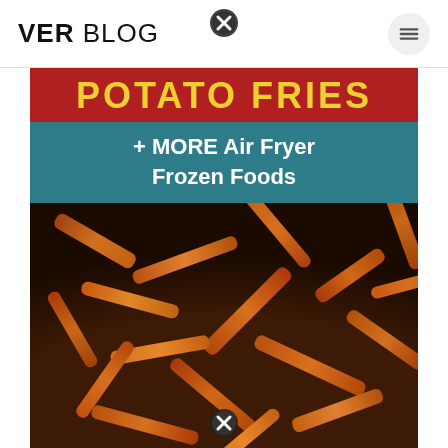VER BLOG
[Figure (photo): Blog header image showing frozen potato fries and more air fryer frozen foods, with a photo of golden-brown fries in a dark air fryer basket. The image has a red banner at top reading 'POTATO FRIES' in yellow, and a teal banner reading '+ MORE Air Fryer Frozen Foods' in white.]